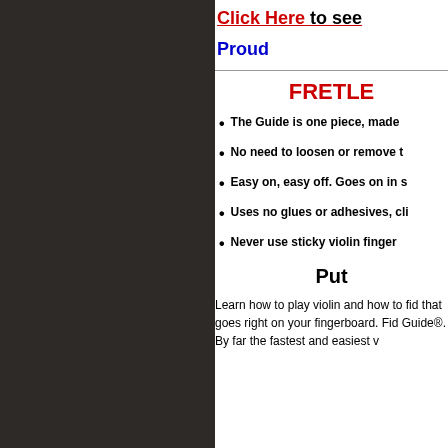[Figure (photo): Dark brown/black panel on the left side of the page, likely showing a violin or fingerboard image]
Click Here to see
Proud
FRETLE
The Guide is one piece, made
No need to loosen or remove t
Easy on, easy off. Goes on in s
Uses no glues or adhesives, cli
Never use sticky violin finger
Put
Learn how to play violin and how to fid that goes right on your fingerboard. Fid Guide®. By far the fastest and easiest v